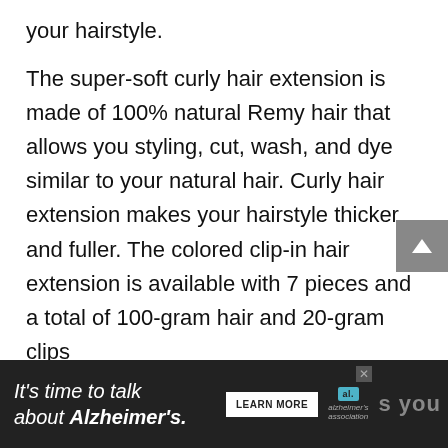your hairstyle.
The super-soft curly hair extension is made of 100% natural Remy hair that allows you styling, cut, wash, and dye similar to your natural hair. Curly hair extension makes your hairstyle thicker and fuller. The colored clip-in hair extension is available with 7 pieces and a total of 100-gram hair and 20-gram clips
Pros:
[Figure (screenshot): Advertisement banner: 'It's time to talk about Alzheimer's.' with a LEARN MORE button and Alzheimer's association logo]